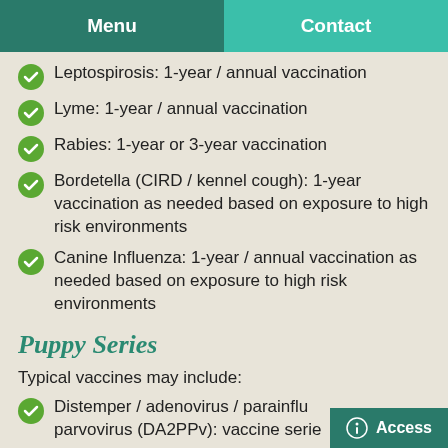Menu | Contact
Leptospirosis: 1-year / annual vaccination
Lyme: 1-year / annual vaccination
Rabies: 1-year or 3-year vaccination
Bordetella (CIRD / kennel cough): 1-year vaccination as needed based on exposure to high risk environments
Canine Influenza: 1-year / annual vaccination as needed based on exposure to high risk environments
Puppy Series
Typical vaccines may include:
Distemper / adenovirus / parainflu... parvovirus (DA2PPv): vaccine serie...